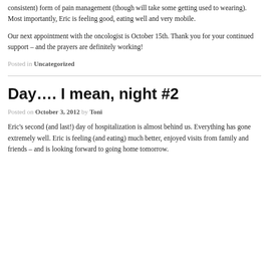consistent) form of pain management (though will take some getting used to wearing). Most importantly, Eric is feeling good, eating well and very mobile.
Our next appointment with the oncologist is October 15th. Thank you for your continued support – and the prayers are definitely working!
Posted in Uncategorized
Day…. I mean, night #2
Posted on October 3, 2012 by Toni
Eric's second (and last!) day of hospitalization is almost behind us. Everything has gone extremely well. Eric is feeling (and eating) much better, enjoyed visits from family and friends – and is looking forward to going home tomorrow.